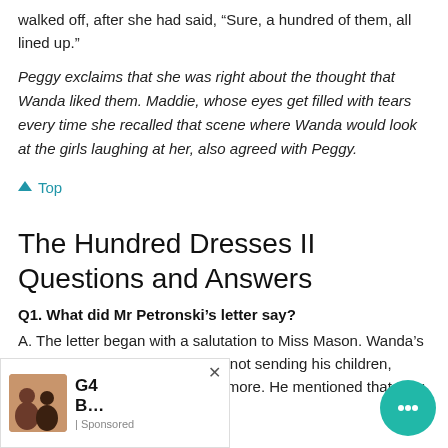walked off, after she had said, “Sure, a hundred of them, all lined up.”
Peggy exclaims that she was right about the thought that Wanda liked them. Maddie, whose eyes get filled with tears every time she recalled that scene where Wanda would look at the girls laughing at her, also agreed with Peggy.
⬆ Top
The Hundred Dresses II Questions and Answers
Q1. What did Mr Petronski’s letter say?
A. The letter began with a salutation to Miss Mason. Wanda’s father conveyed his intention of not sending his children, Wanda and Jake, to school anymore. He mentioned that they were now being